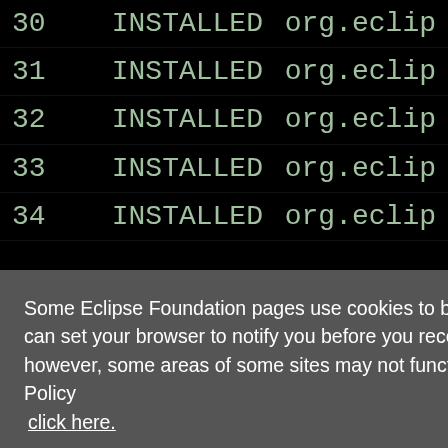[Figure (screenshot): Terminal/console output showing a list of installed OSGi bundles with row numbers (30-34), INSTALLED status, and org.eclip... package names on a black background]
Some Eclipse Foundation pages use cookies to better serve you when you return to the site. You can set your browser to notify you before you receive a cookie or turn off cookies. If you do so, however, some areas of some sites may not function properly. To read Eclipse Foundation Privacy Policy click here.
Decline
Allow cookies
I assume, that some manifest is not generated appropriately. But